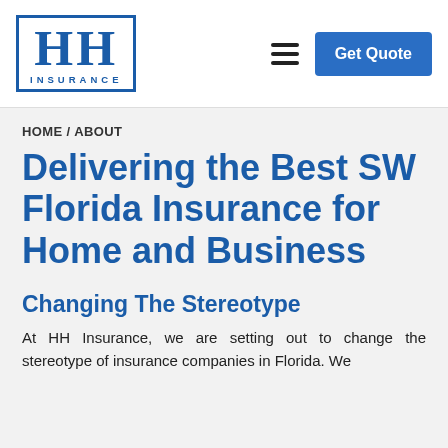[Figure (logo): HH Insurance logo — large bold HH letters in blue inside a blue border rectangle, with INSURANCE text below]
Get Quote
HOME / ABOUT
Delivering the Best SW Florida Insurance for Home and Business
Changing The Stereotype
At HH Insurance, we are setting out to change the stereotype of insurance companies in Florida. We